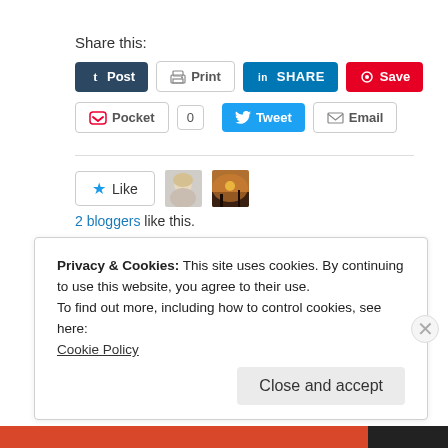Share this:
[Figure (screenshot): Social sharing buttons row 1: Post (Tumblr), Print, SHARE (LinkedIn), Save (Pinterest)]
[Figure (screenshot): Social sharing buttons row 2: Pocket (0), Tweet, Email]
[Figure (screenshot): Like button with 2 blogger avatars and '2 bloggers like this.' text]
2 bloggers like this.
Privacy & Cookies: This site uses cookies. By continuing to use this website, you agree to their use.
To find out more, including how to control cookies, see here:
Cookie Policy
Close and accept